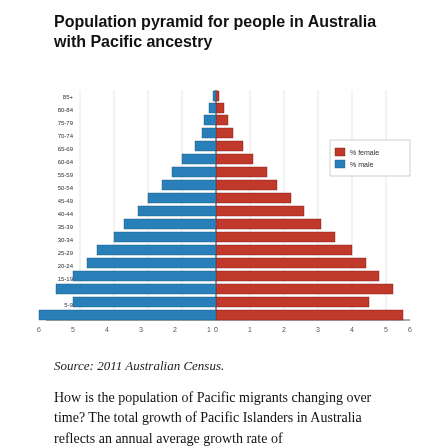Population pyramid for people in Australia with Pacific ancestry
[Figure (bar-chart): Population pyramid for people in Australia with Pacific ancestry]
Source: 2011 Australian Census.
How is the population of Pacific migrants changing over time? The total growth of Pacific Islanders in Australia reflects an annual average growth rate of